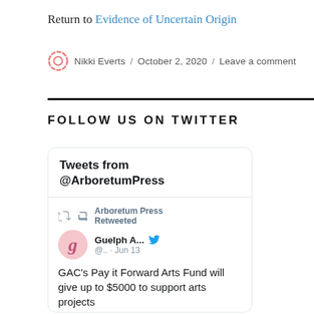Return to Evidence of Uncertain Origin
Nikki Everts / October 2, 2020 / Leave a comment
FOLLOW US ON TWITTER
[Figure (screenshot): Embedded Twitter widget showing Tweets from @ArboretumPress. Contains a retweet by Arboretum Press of a tweet by Guelph A... (@.. · Jun 13) reading: GAC's Pay it Forward Arts Fund will give up to $5000 to support arts projects]